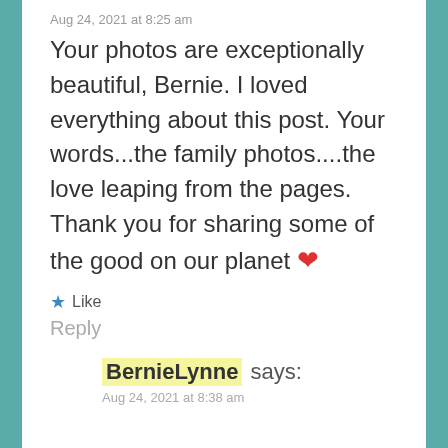Aug 24, 2021 at 8:25 am
Your photos are exceptionally beautiful, Bernie. I loved everything about this post. Your words...the family photos....the love leaping from the pages. Thank you for sharing some of the good on our planet ❤
★ Like
Reply
BernieLynne says:
Aug 24, 2021 at 8:38 am